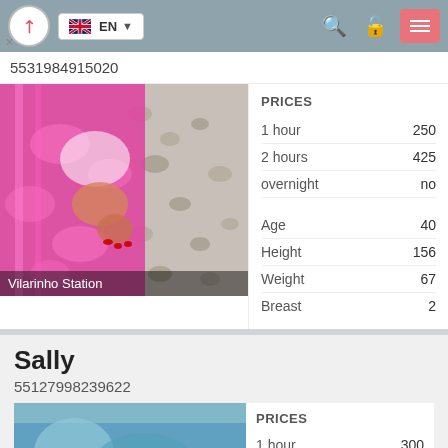EN
5531984915020
[Figure (photo): Photo of a person in pink floral clothing with leopard print background, location label: Vilarinho Station]
|  |  |
| --- | --- |
| PRICES |  |
| 1 hour | 250 |
| 2 hours | 425 |
| overnight | no |
| Age | 40 |
| Height | 156 |
| Weight | 67 |
| Breast | 2 |
Sally
55127998239622
|  |  |
| --- | --- |
| PRICES |  |
| 1 hour | 300 |